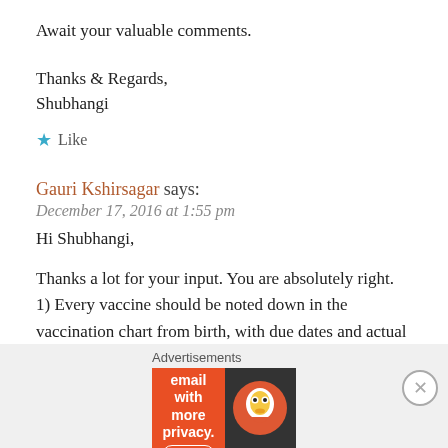Await your valuable comments.
Thanks & Regards,
Shubhangi
★ Like
Gauri Kshirsagar says:
December 17, 2016 at 1:55 pm
Hi Shubhangi,
Thanks a lot for your input. You are absolutely right.
1) Every vaccine should be noted down in the vaccination chart from birth, with due dates and actual date of vaccine given.
2) At every visit the weight, height/length and head circumference of the child has to be recorded
Advertisements
[Figure (other): DuckDuckGo advertisement banner: orange left side with text 'Search, browse, and email with more privacy. All in One Free App', dark right side with DuckDuckGo duck logo]